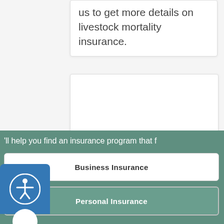us to get more details on livestock mortality insurance.
'll help you find an insurance program that f
Business Insurance
Personal Insurance